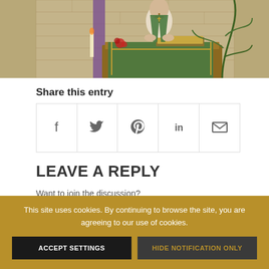[Figure (photo): Photo of a priest or pastor in green vestments standing at a pulpit or altar in a church, with stone wall background and plant visible]
Share this entry
[Figure (infographic): Social share icons row: Facebook (f), Twitter, Pinterest (p), LinkedIn (in), Email (envelope)]
LEAVE A REPLY
Want to join the discussion?
Feel free to contribute!
This site uses cookies. By continuing to browse the site, you are agreeing to our use of cookies.